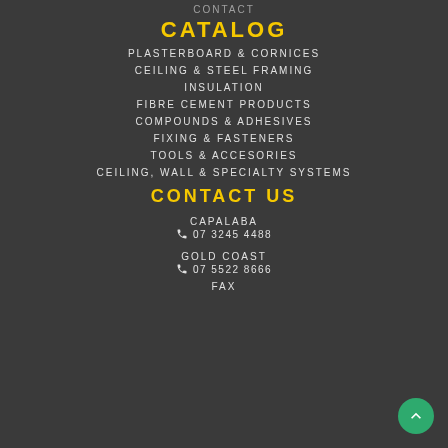CONTACT
CATALOG
PLASTERBOARD & CORNICES
CEILING & STEEL FRAMING
INSULATION
FIBRE CEMENT PRODUCTS
COMPOUNDS & ADHESIVES
FIXING & FASTENERS
TOOLS & ACCESORIES
CEILING, WALL & SPECIALTY SYSTEMS
CONTACT US
CAPALABA
☎ 07 3245 4488
GOLD COAST
☎ 07 5522 8666
FAX